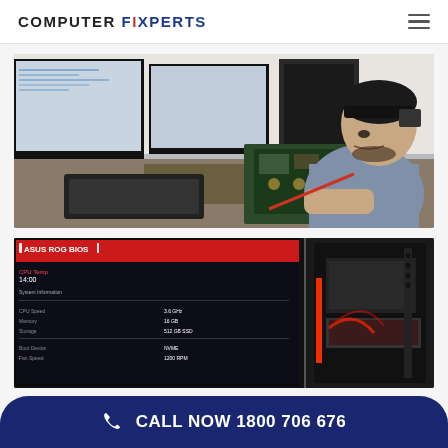COMPUTER FIXPERTS
[Figure (photo): A technician wearing a headband magnifier sits at a workbench with multiple monitors, working on an open laptop motherboard with a screwdriver. Various PC components and cables are visible on the desk.]
[Figure (photo): Close-up of an ASUS ROG monitor displaying a gaming BIOS screen, next to an open PC tower case with red LED lighting and visible internal components.]
CALL NOW 1800 706 676